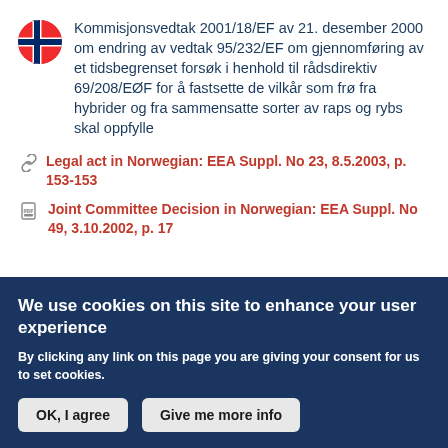Kommisjonsvedtak 2001/18/EF av 21. desember 2000 om endring av vedtak 95/232/EF om gjennomføring av et tidsbegrenset forsøk i henhold til rådsdirektiv 69/208/EØF for å fastsette de vilkår som frø fra hybrider og fra sammensatte sorter av raps og rybs skal oppfylle
Legal act in Norwegian: EEA Suppl. No 23, 8.5.2003, p. 153-153
Joint Committee Decision in Norwegian: EEA Suppl. No 49, 3.10.2002, p. 17
We use cookies on this site to enhance your user experience
By clicking any link on this page you are giving your consent for us to set cookies.